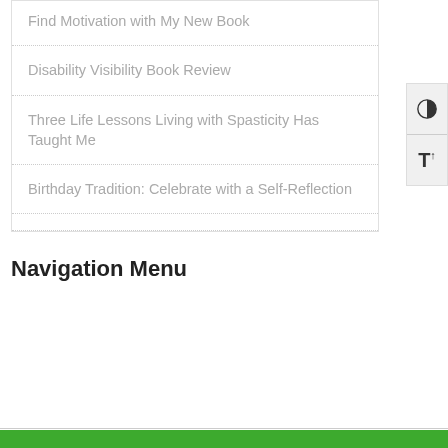Find Motivation with My New Book
Disability Visibility Book Review
Three Life Lessons Living with Spasticity Has Taught Me
Birthday Tradition: Celebrate with a Self-Reflection
Navigation Menu